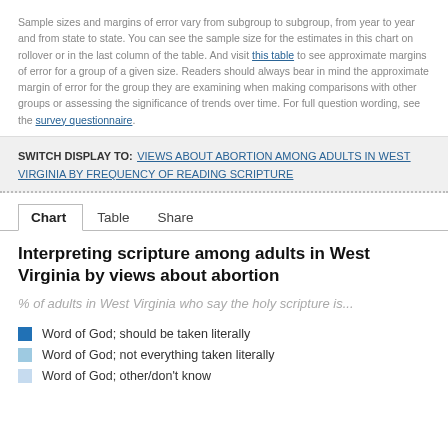Sample sizes and margins of error vary from subgroup to subgroup, from year to year and from state to state. You can see the sample size for the estimates in this chart on rollover or in the last column of the table. And visit this table to see approximate margins of error for a group of a given size. Readers should always bear in mind the approximate margin of error for the group they are examining when making comparisons with other groups or assessing the significance of trends over time. For full question wording, see the survey questionnaire.
SWITCH DISPLAY TO: VIEWS ABOUT ABORTION AMONG ADULTS IN WEST VIRGINIA BY FREQUENCY OF READING SCRIPTURE
Chart | Table | Share
Interpreting scripture among adults in West Virginia by views about abortion
% of adults in West Virginia who say the holy scripture is...
Word of God; should be taken literally
Word of God; not everything taken literally
Word of God; other/don't know